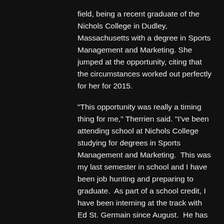field, being a recent graduate of the Nichols College in Dudley, Massachusetts with a degree in Sports Management and Marketing. She jumped at the opportunity, citing that the circumstances worked out perfectly for her for 2015.

“This opportunity was really a timing thing for me,” Therrien said. “I’ve been attending school at Nichols College studying for degrees in Sports Management and Marketing.  This was my last semester in school and I have been job hunting and preparing to graduate.  As part of a school credit, I have been interning at the track with Ed St. Germain since August.  He has taught me more than I could ever think of and I